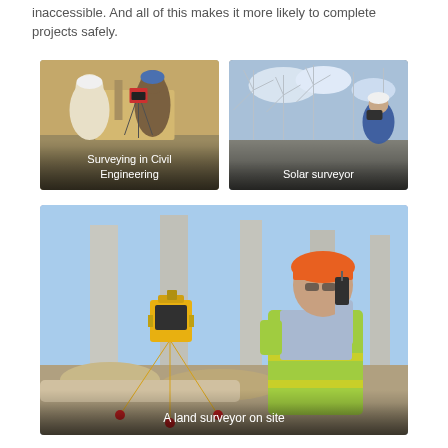inaccessible. And all of this makes it more likely to complete projects safely.
[Figure (photo): Two workers in hard hats, one pointing and one operating surveying equipment on a construction site with yellow excavators in the background. Caption: Surveying in Civil Engineering]
[Figure (photo): A person in a white hard hat using binoculars at a wind farm site with multiple wind turbines visible in the background. Caption: Solar surveyor]
[Figure (photo): A land surveyor on a construction site wearing an orange hard hat and yellow reflective vest, standing next to a yellow total station instrument on a tripod, holding a walkie-talkie. Caption: A land surveyor on site]